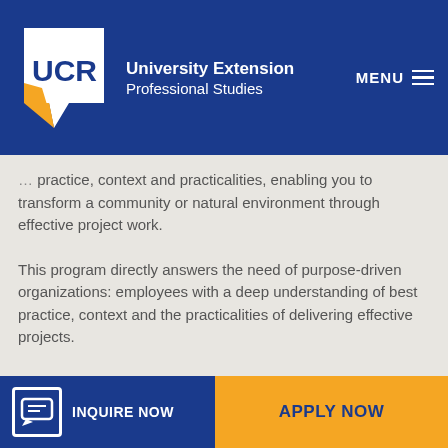UCR University Extension Professional Studies
practice, context and practicalities, enabling you to transform a community or natural environment through effective project work.
This program directly answers the need of purpose-driven organizations: employees with a deep understanding of best practice, context and the practicalities of delivering effective projects.
INQUIRE NOW   APPLY NOW